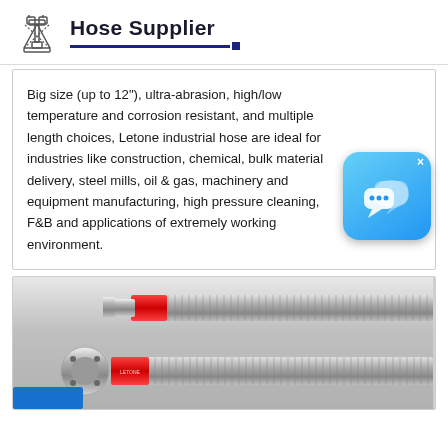Hose Supplier
Big size (up to 12"), ultra-abrasion, high/low temperature and corrosion resistant, and multiple length choices, Letone industrial hose are ideal for industries like construction, chemical, bulk material delivery, steel mills, oil & gas, machinery and equipment manufacturing, high pressure cleaning, F&B and applications of extremely working environment.
[Figure (photo): Photo of industrial hoses with red and silver metallic braided exterior and chrome fittings/flanges]